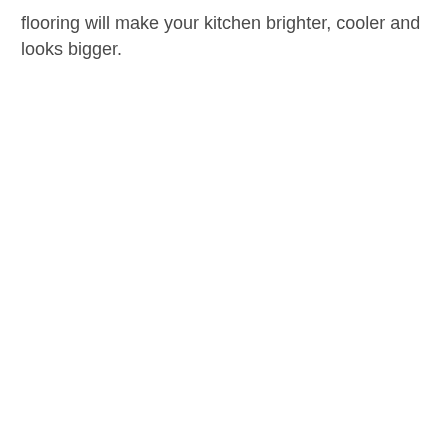flooring will make your kitchen brighter, cooler and looks bigger.